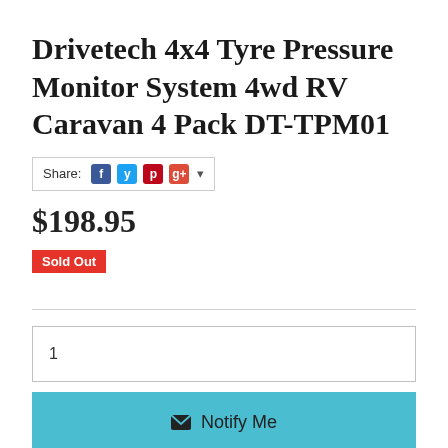Drivetech 4x4 Tyre Pressure Monitor System 4wd RV Caravan 4 Pack DT-TPM01
Share: [Facebook] [Twitter] [Pinterest] [Google+] ▾
$198.95
Sold Out
1
✉ Notify Me